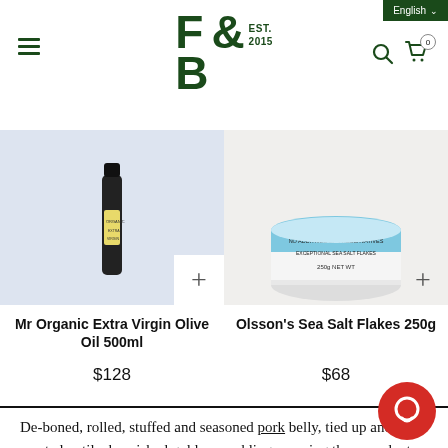F & B EST. 2015 | English | Hamburger menu | Search | Cart (0)
[Figure (photo): Mr Organic Extra Virgin Olive Oil 500ml product image with add button]
Mr Organic Extra Virgin Olive Oil 500ml
$128
[Figure (photo): Olsson's Sea Salt Flakes 250g product image with add button]
Olsson's Sea Salt Flakes 250g
$68
De-boned, rolled, stuffed and seasoned pork belly, tied up and roasted until a burnished golden crackling encasing the succulent perfumed interior. That is porchetta and we LOVE porchetta. So much so that we want you to have access as many ways as we can imagine. Sit down in our restaurant and order a perfectly roasted slice. Or take that slice home, or